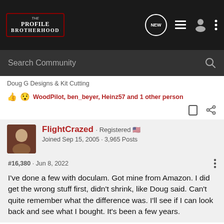[Figure (screenshot): The Profile Brotherhood forum navigation bar with logo, NEW chat icon, menu icon, user icon, and dots menu]
[Figure (screenshot): Search Community search bar]
Doug G Designs & Kit Cutting
WoodPilot, ben_beyer, Heinz57 and 1 other person
FlightCrazed · Registered
Joined Sep 15, 2005 · 3,965 Posts
#16,380 · Jun 8, 2022
I've done a few with doculam. Got mine from Amazon. I did get the wrong stuff first, didn't shrink, like Doug said. Can't quite remember what the difference was. I'll see if I can look back and see what I bought. It's been a few years.